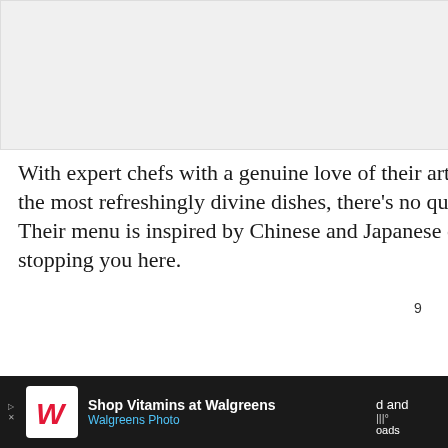[Figure (photo): Image placeholder / article photo at top of page]
With expert chefs with a genuine love of their artistry working hard daily to deliver some of the most refreshingly divine dishes, there's no questioning why Boston loves Yutaka so much. Their menu is inspired by Chinese and Japanese cuisine and if you feel for both, there's no stopping you here.
[Figure (screenshot): UI overlay showing heart/like button with count 9, share button, and 'WHAT'S NEXT' panel linking to 'Is Olive Garden...']
[Figure (screenshot): Advertisement bar at bottom: Shop Vitamins at Walgreens / Walgreens Photo]